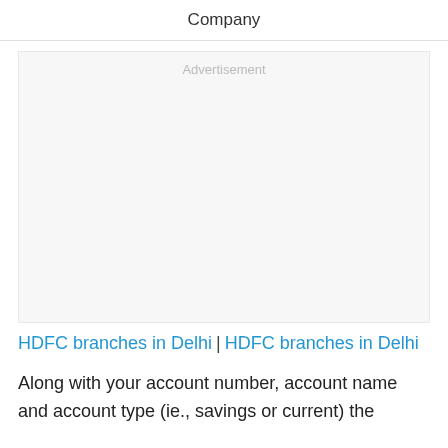Company
[Figure (other): Advertisement placeholder box]
HDFC branches in Delhi | HDFC branches in Delhi
Along with your account number, account name and account type (ie., savings or current) the